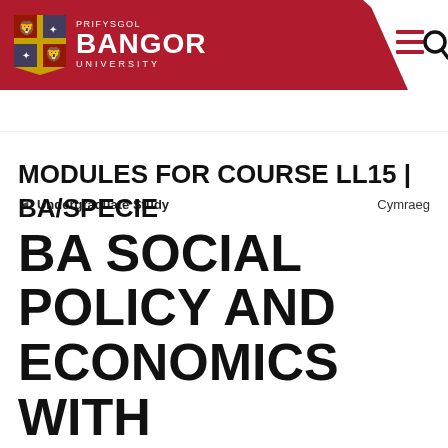[Figure (logo): Bangor University logo with red shield crest and white text reading PRIFYSGOL BANGOR UNIVERSITY on a dark red background header bar]
◄ Undergraduate Study    Cymraeg
MODULES FOR COURSE LL15 | BA/SPECIE BA SOCIAL POLICY AND ECONOMICS WITH